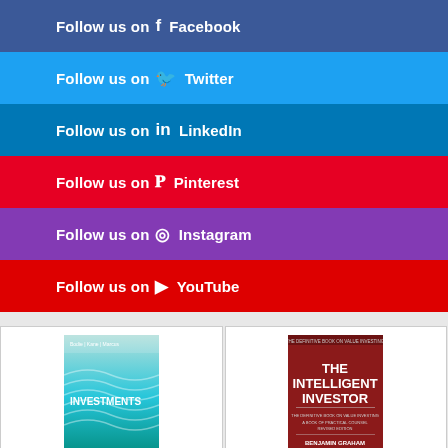Follow us on Facebook
Follow us on Twitter
Follow us on LinkedIn
Follow us on Pinterest
Follow us on Instagram
Follow us on YouTube
[Figure (illustration): Book cover: Investments by Bodie, Kane, Marcus]
Investments
[Figure (illustration): Book cover: The Intelligent Investor by Benjamin Graham]
The Intelligent Investor Rev Ed.: The Definitive Book on